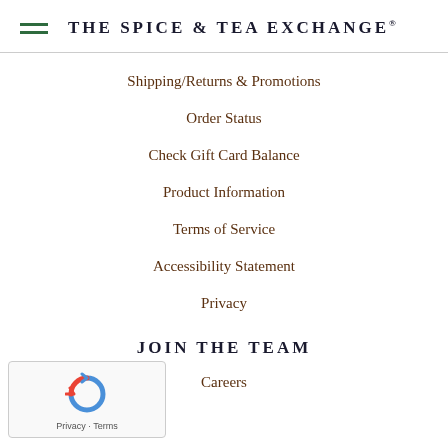THE SPICE & TEA EXCHANGE®
Shipping/Returns & Promotions
Order Status
Check Gift Card Balance
Product Information
Terms of Service
Accessibility Statement
Privacy
JOIN THE TEAM
Careers
[Figure (logo): reCAPTCHA badge with circular arrow logo and text 'Privacy - Terms']